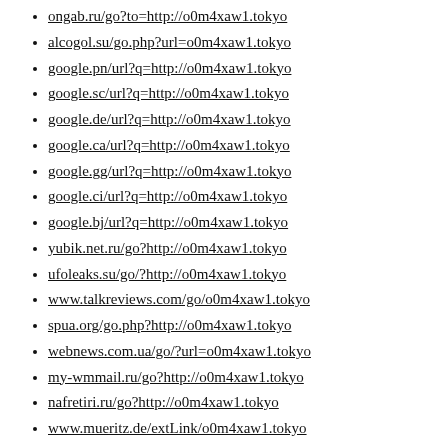ongab.ru/go?to=http://o0m4xaw1.tokyo
alcogol.su/go.php?url=o0m4xaw1.tokyo
google.pn/url?q=http://o0m4xaw1.tokyo
google.sc/url?q=http://o0m4xaw1.tokyo
google.de/url?q=http://o0m4xaw1.tokyo
google.ca/url?q=http://o0m4xaw1.tokyo
google.gg/url?q=http://o0m4xaw1.tokyo
google.ci/url?q=http://o0m4xaw1.tokyo
google.bj/url?q=http://o0m4xaw1.tokyo
yubik.net.ru/go?http://o0m4xaw1.tokyo
ufoleaks.su/go/?http://o0m4xaw1.tokyo
www.talkreviews.com/go/o0m4xaw1.tokyo
spua.org/go.php?http://o0m4xaw1.tokyo
webnews.com.ua/go/?url=o0m4xaw1.tokyo
my-wmmail.ru/go?http://o0m4xaw1.tokyo
nafretiri.ru/go?http://o0m4xaw1.tokyo
www.mueritz.de/extLink/o0m4xaw1.tokyo
ww4.cef.es/trk/r.emt?h=o0m4xaw1.tokyo
rint.ru/go/?url=http://o0m4xaw1.tokyo